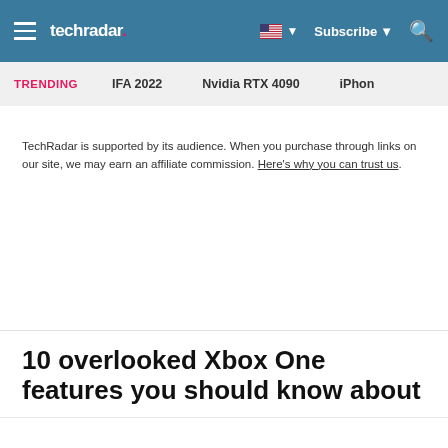techradar | Subscribe
TRENDING   IFA 2022   Nvidia RTX 4090   iPhon
TechRadar is supported by its audience. When you purchase through links on our site, we may earn an affiliate commission. Here's why you can trust us.
10 overlooked Xbox One features you should know about